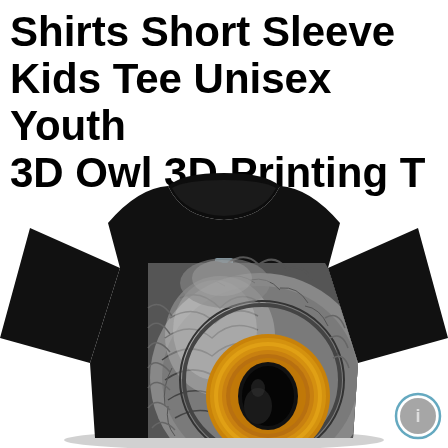Shirts Short Sleeve Kids Tee Unisex Youth 3D Owl 3D Printing T
[Figure (photo): A black kids short-sleeve t-shirt with a 3D printed close-up owl face graphic on the front, showing detailed feathers and a large yellow owl eye. A small info button icon appears at the bottom right.]